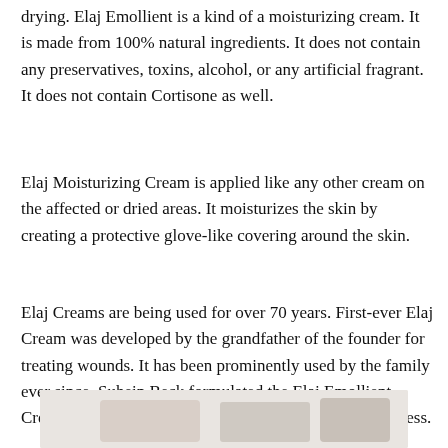drying. Elaj Emollient is a kind of a moisturizing cream. It is made from 100% natural ingredients. It does not contain any preservatives, toxins, alcohol, or any artificial fragrant. It does not contain Cortisone as well.
Elaj Moisturizing Cream is applied like any other cream on the affected or dried areas. It moisturizes the skin by creating a protective glove-like covering around the skin.
Elaj Creams are being used for over 70 years. First-ever Elaj Cream was developed by the grandfather of the founder for treating wounds. It has been prominently used by the family ever since. Suhein Beck formulated the Elaj Emollient Cream to help people deal with the problem of skin dryness.
[Figure (photo): Partial image of Elaj cream products at the bottom of the page, light background with product packaging visible.]